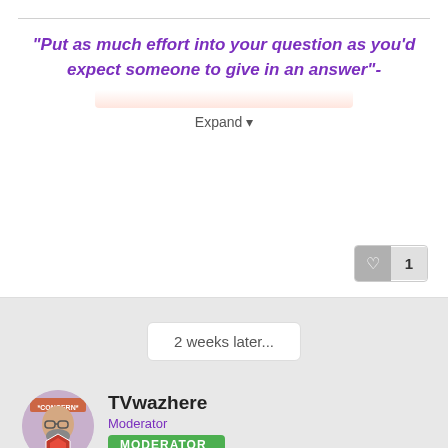"Put as much effort into your question as you'd expect someone to give in an answer"-
Expand
2 weeks later...
TVwazhere
Moderator
MODERATOR
13.7k  297
Posted March 16, 2020
Lots of requests recently, awesome to see! I hope to see a lot